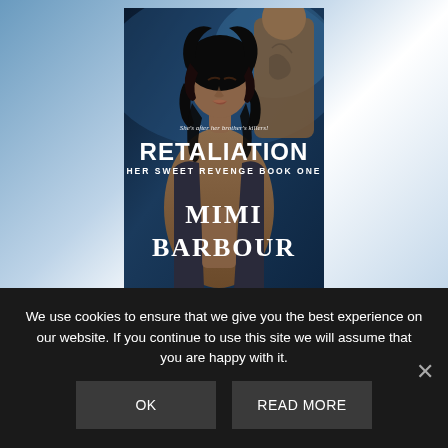[Figure (illustration): Book cover for 'Retaliation: Her Sweet Revenge Book One' by Mimi Barbour. Shows a woman with dark curly hair in a tank top in the foreground, and a tattooed shirtless man in the background. Dark blue-toned moody atmosphere. Text on cover reads 'She's after her brother's killers!' as tagline, 'RETALIATION' as main title, 'HER SWEET REVENGE BOOK ONE' as subtitle, and 'MIMI BARBOUR' as author name.]
We use cookies to ensure that we give you the best experience on our website. If you continue to use this site we will assume that you are happy with it.
OK
READ MORE